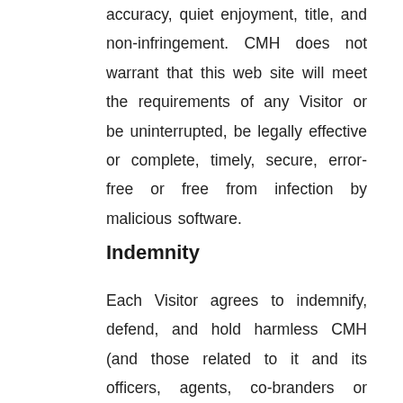accuracy, quiet enjoyment, title, and non-infringement. CMH does not warrant that this web site will meet the requirements of any Visitor or be uninterrupted, be legally effective or complete, timely, secure, error-free or free from infection by malicious software.
Indemnity
Each Visitor agrees to indemnify, defend, and hold harmless CMH (and those related to it and its officers, agents, co-branders or other partners, and employees) from and